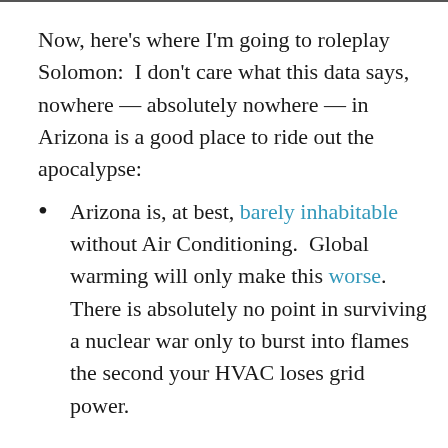Now, here's where I'm going to roleplay Solomon:  I don't care what this data says, nowhere — absolutely nowhere — in Arizona is a good place to ride out the apocalypse:
Arizona is, at best, barely inhabitable without Air Conditioning.  Global warming will only make this worse.  There is absolutely no point in surviving a nuclear war only to burst into flames the second your HVAC loses grid power.
Central Arizona is only hydrated by a gargantuan public works project.  An entire river is pumped over the Buckskin mountains to keep the geriatric heart of Phoenix from dying. The water...